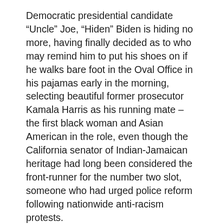Democratic presidential candidate “Uncle” Joe, “Hiden” Biden is hiding no more, having finally decided as to who may remind him to put his shoes on if he walks bare foot in the Oval Office in his pajamas early in the morning, selecting beautiful former prosecutor Kamala Harris as his running mate – the first black woman and Asian American in the role, even though the California senator of Indian-Jamaican heritage had long been considered the front-runner for the number two slot, someone who had urged police reform following nationwide anti-racism protests.
“I’m honored to join him as our party’s nominee for Vice President, and do what it takes to make him our Commander-in-Chief,” Ms. Harris declared.
The campaign announced that Mr. Biden and Ms. Harris will